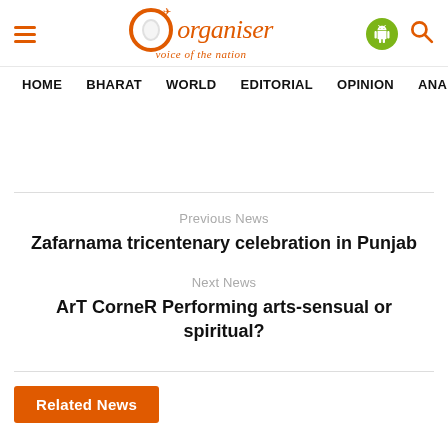Organiser - Voice of the Nation
HOME  BHARAT  WORLD  EDITORIAL  OPINION  ANA
Previous News
Zafarnama tricentenary celebration in Punjab
Next News
ArT CorneR Performing arts-sensual or spiritual?
Related News